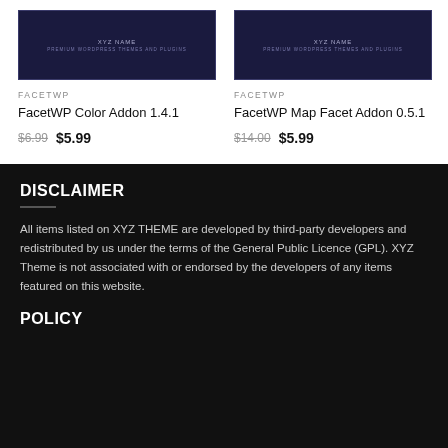[Figure (screenshot): Dark navy product thumbnail image with centered text 'XYZ NAME' and 'PREMIUM WORDPRESS THEMES AND PLUGINS' for FacetWP Color Addon]
FACETWP
FacetWP Color Addon 1.4.1
$6.99  $5.99
[Figure (screenshot): Dark navy product thumbnail image with centered text 'XYZ NAME' and 'PREMIUM WORDPRESS THEMES AND PLUGINS' for FacetWP Map Facet Addon]
FACETWP
FacetWP Map Facet Addon 0.5.1
$14.00  $5.99
DISCLAIMER
All items listed on XYZ THEME are developed by third-party developers and redistributed by us under the terms of the General Public Licence (GPL). XYZ Theme is not associated with or endorsed by the developers of any items featured on this website.
POLICY